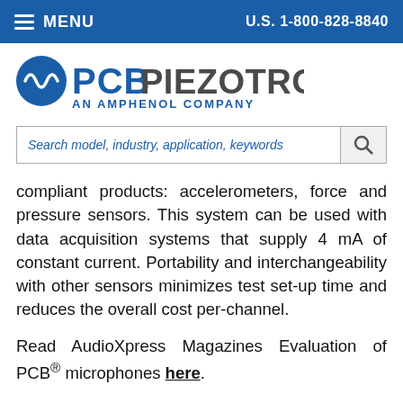MENU   U.S. 1-800-828-8840
[Figure (logo): PCB Piezotronics - An Amphenol Company logo]
Search model, industry, application, keywords
compliant products: accelerometers, force and pressure sensors. This system can be used with data acquisition systems that supply 4 mA of constant current. Portability and interchangeability with other sensors minimizes test set-up time and reduces the overall cost per-channel.
Read AudioXpress Magazines Evaluation of PCB® microphones here.